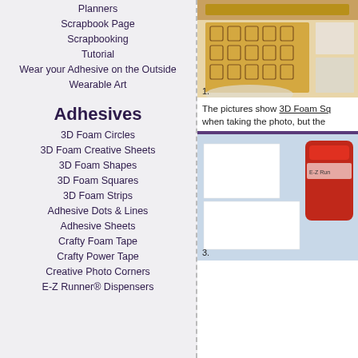Planners
Scrapbook Page
Scrapbooking
Tutorial
Wear your Adhesive on the Outside
Wearable Art
Adhesives
3D Foam Circles
3D Foam Creative Sheets
3D Foam Shapes
3D Foam Squares
3D Foam Strips
Adhesive Dots & Lines
Adhesive Sheets
Crafty Foam Tape
Crafty Power Tape
Creative Photo Corners
E-Z Runner® Dispensers
The pictures show 3D Foam Sq when taking the photo, but the
[Figure (photo): Photo of craft supplies with stamped brown paper featuring cup/drink patterns, placed on a light surface. Labeled 1.]
[Figure (photo): Photo of white cardstock and red adhesive dispenser/runner tool on light blue background. Labeled 3.]